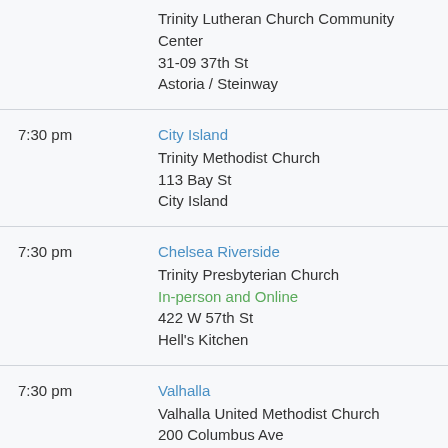Trinity Lutheran Church Community Center
31-09 37th St
Astoria / Steinway
7:30 pm | City Island | Trinity Methodist Church | 113 Bay St | City Island
7:30 pm | Chelsea Riverside | Trinity Presbyterian Church | In-person and Online | 422 W 57th St | Hell's Kitchen
7:30 pm | Valhalla | Valhalla United Methodist Church | 200 Columbus Ave | Valhalla
7:30 pm | Valhalla | Valhalla United Methodist Church | 200 Columbus Ave